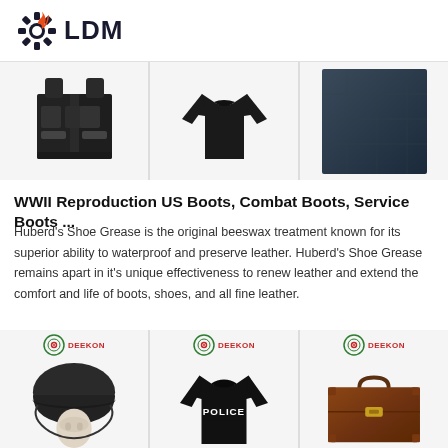[Figure (logo): LDM logo with gear and flame icon]
[Figure (photo): Three product images: tactical vest, black long-sleeve shirt, dark fabric material]
WWII Reproduction US Boots, Combat Boots, Service Boots ...
Huberd's Shoe Grease is the original beeswax treatment known for its superior ability to waterproof and preserve leather. Huberd's Shoe Grease remains apart in it's unique effectiveness to renew leather and extend the comfort and life of boots, shoes, and all fine leather.
[Figure (photo): Three Deekon branded product images: combat helmet on mannequin head, black police t-shirt, brown leather briefcase]